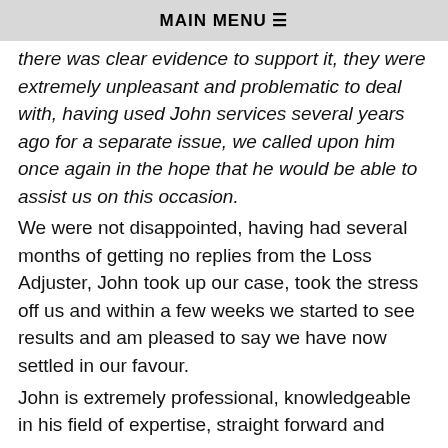MAIN MENU ☰
there was clear evidence to support it, they were extremely unpleasant and problematic to deal with, having used John services several years ago for a separate issue, we called upon him once again in the hope that he would be able to assist us on this occasion.
We were not disappointed, having had several months of getting no replies from the Loss Adjuster, John took up our case, took the stress off us and within a few weeks we started to see results and am pleased to say we have now settled in our favour.
John is extremely professional, knowledgeable in his field of expertise, straight forward and